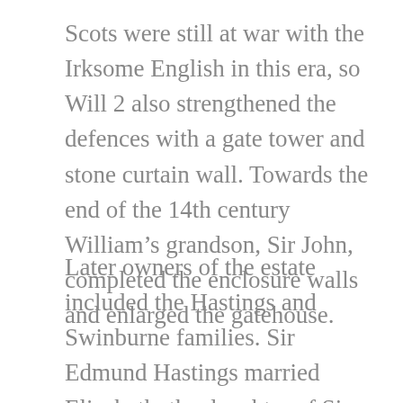Scots were still at war with the Irksome English in this era, so Will 2 also strengthened the defences with a gate tower and stone curtain wall. Towards the end of the 14th century William’s grandson, Sir John, completed the enclosure walls and enlarged the gatehouse.
Later owners of the estate included the Hastings and Swinburne families. Sir Edmund Hastings married Elizabeth, the daughter of Sir John Felton, and in In 1514, George Swinburne, constable of Prudhoe,